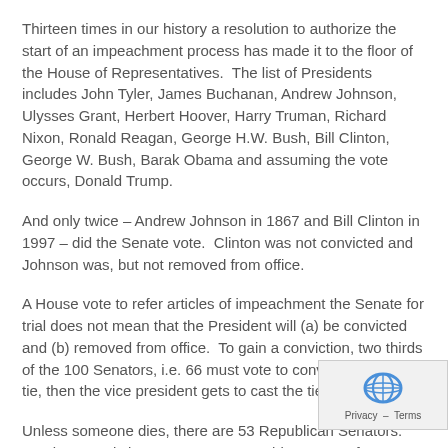Thirteen times in our history a resolution to authorize the start of an impeachment process has made it to the floor of the House of Representatives.  The list of Presidents includes John Tyler, James Buchanan, Andrew Johnson, Ulysses Grant, Herbert Hoover, Harry Truman, Richard Nixon, Ronald Reagan, George H.W. Bush, Bill Clinton, George W. Bush, Barak Obama and assuming the vote occurs, Donald Trump.
And only twice – Andrew Johnson in 1867 and Bill Clinton in 1997 – did the Senate vote.  Clinton was not convicted and Johnson was, but not removed from office.
A House vote to refer articles of impeachment the Senate for trial does not mean that the President will (a) be convicted and (b) removed from office.  To gain a conviction, two thirds of the 100 Senators, i.e. 66 must vote to convict.  If there is a tie, then the vice president gets to cast the tie breaking vote.
Unless someone dies, there are 53 Republican Senators.  To win a conviction AND remove President Trump from office, the Democrats need all their senators to vote to convict plus at 19 Republicans to do the same.  The odds of that happening somewhere between slim and none.